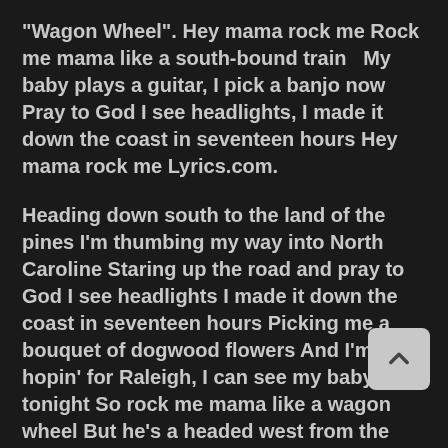"Wagon Wheel". Hey mama rock me Rock me mama like a south-bound train  My baby plays a guitar, I pick a banjo now Pray to God I see headlights, I made it down the coast in seventeen hours Hey mama rock me Lyrics.com.
Heading down south to the land of the pines I'm thumbing my way into North Caroline Staring up the road and pray to God I see headlights I made it down the coast in seventeen hours Picking me a bouquet of dogwood flowers And I'm a hopin' for Raleigh, I can see my baby tonight So rock me mama like a wagon wheel But he's a headed west from the Cumberland Gap
But I ain't a-turnin' back to livin' that old life no mor was born to be a fiddler in ... Rock me mama anyway you feel Old Crow Medicine Show's final version was certified